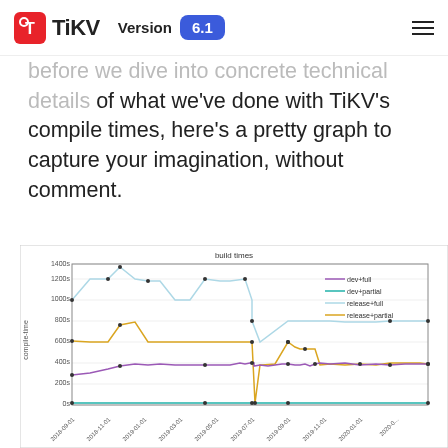TiKV Version 6.1
before we dive into concrete technical details of what we've done with TiKV's compile times, here's a pretty graph to capture your imagination, without comment.
[Figure (line-chart): Line chart showing TiKV build times over dates from 2018-09-01 to 2020-01, with four series: dev+full (purple, ~280-400s), dev+partial (teal, ~0-50s), release+full (lightblue, ~1000-1300s range with drop around 2019-07), release+partial (orange/yellow, ~650-800s)]